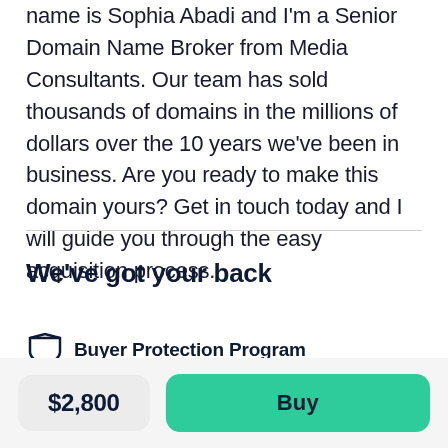name is Sophia Abadi and I'm a Senior Domain Name Broker from Media Consultants. Our team has sold thousands of domains in the millions of dollars over the 10 years we've been in business. Are you ready to make this domain yours? Get in touch today and I will guide you through the easy acquisition process.
We've got your back
Buyer Protection Program
$2,800
Buy